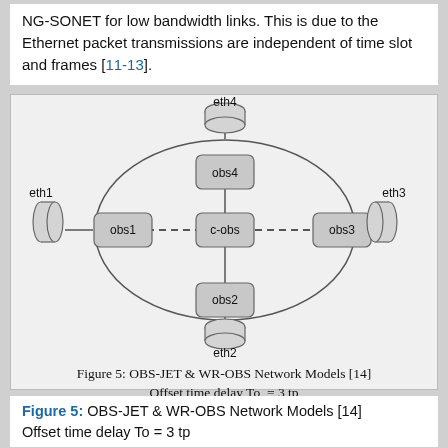NG-SONET for low bandwidth links. This is due to the Ethernet packet transmissions are independent of time slot and frames [11-13].
[Figure (network-graph): Network diagram showing OBS-JET & WR-OBS topology with nodes: eth1 (cylinder, left), obs1 (rounded rectangle), c-obs (center rounded rectangle), obs3 (rounded rectangle), eth3 (cylinder, right), obs4 (top rounded rectangle), eth4 (top cylinder), obs2 (bottom rounded rectangle), eth2 (bottom cylinder). Dashed horizontal line connects obs1-c-obs-obs3. Ellipse connects obs1, obs4, obs3, obs2. Solid lines connect eth nodes to obs nodes.]
Figure 5: OBS-JET & WR-OBS Network Models [14]
Offset time delay To  = 3 tp
tp = processing time at each hop
Figure 5: OBS-JET & WR-OBS Network Models [14] Offset time delay To = 3 tp